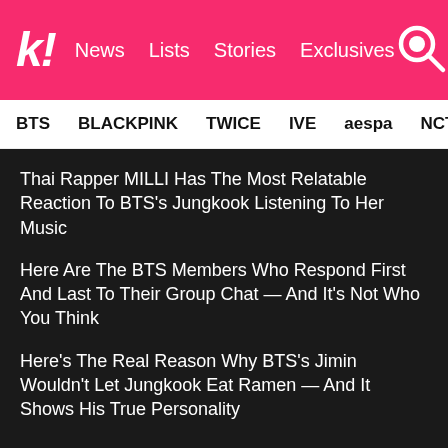k! News Lists Stories Exclusives
BTS BLACKPINK TWICE IVE aespa NCT SEVE
Thai Rapper MILLI Has The Most Relatable Reaction To BTS's Jungkook Listening To Her Music
Here Are The BTS Members Who Respond First And Last To Their Group Chat — And It's Not Who You Think
Here's The Real Reason Why BTS's Jimin Wouldn't Let Jungkook Eat Ramen — And It Shows His True Personality
See more BTS
Share This Post